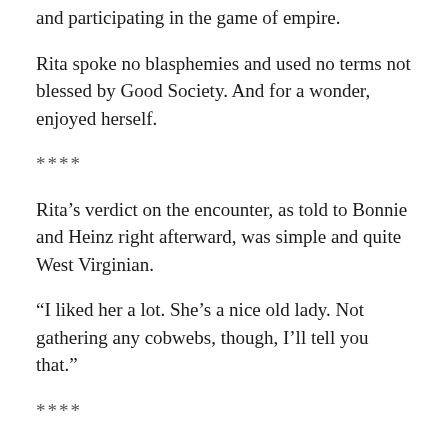and participating in the game of empire.
Rita spoke no blasphemies and used no terms not blessed by Good Society. And for a wonder, enjoyed herself.
****
Rita’s verdict on the encounter, as told to Bonnie and Heinz right afterward, was simple and quite West Virginian.
“I liked her a lot. She’s a nice old lady. Not gathering any cobwebs, though, I’ll tell you that.”
****
Isabella’s verdict on the encounter, as told to King Fernando and Queen Maria Anna right